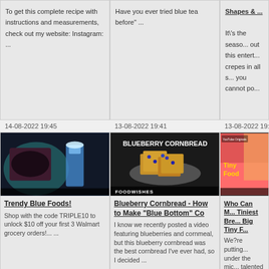To get this complete recipe with instructions and measurements, check out my website: Instagram: ...
Have you ever tried blue tea before" ...
Shapes & ...
It\'s the season... out this entert... crepes in all s... you cannot po...
14-08-2022 19:45
13-08-2022 19:41
13-08-2022 19:...
[Figure (photo): Blue foods thumbnail with dark background showing blue cocktail and dark berry dessert]
Trendy Blue Foods!
Shop with the code TRIPLE10 to unlock $10 off your first 3 Walmart grocery orders!... ...
[Figure (photo): Blueberry cornbread thumbnail with BLUEBERRY CORNBREAD text overlay and FOODWISHES branding]
Blueberry Cornbread - How to Make "Blue Bottom" Co
I know we recently posted a video featuring blueberries and cornmeal, but this blueberry cornbread was the best cornbread I've ever had, so I decided ...
[Figure (photo): Tiny Food YouTube Originals thumbnail with colorful background and Tiny Food text in yellow]
Who Can M... Tiniest Bre... Big Tiny F...
We?re putting... under the mic... talented kid ch... who can crea... most creative...